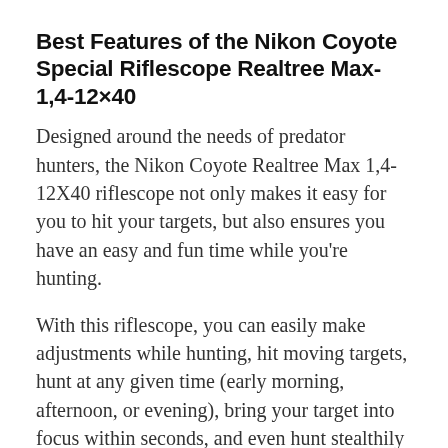Best Features of the Nikon Coyote Special Riflescope Realtree Max-1,4-12×40
Designed around the needs of predator hunters, the Nikon Coyote Realtree Max 1,4-12X40 riflescope not only makes it easy for you to hit your targets, but also ensures you have an easy and fun time while you're hunting.
With this riflescope, you can easily make adjustments while hunting, hit moving targets, hunt at any given time (early morning, afternoon, or evening), bring your target into focus within seconds, and even hunt stealthily without spooking your game.